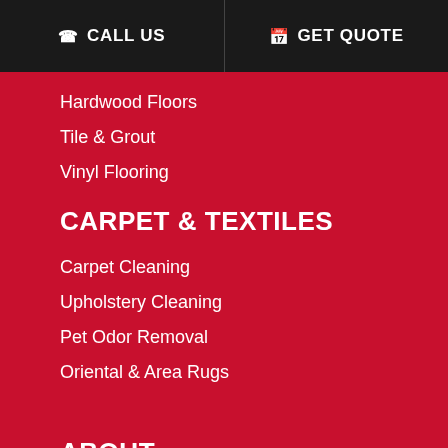CALL US | GET QUOTE
Hardwood Floors
Tile & Grout
Vinyl Flooring
CARPET & TEXTILES
Carpet Cleaning
Upholstery Cleaning
Pet Odor Removal
Oriental & Area Rugs
ABOUT
Reviews
Get A Quote